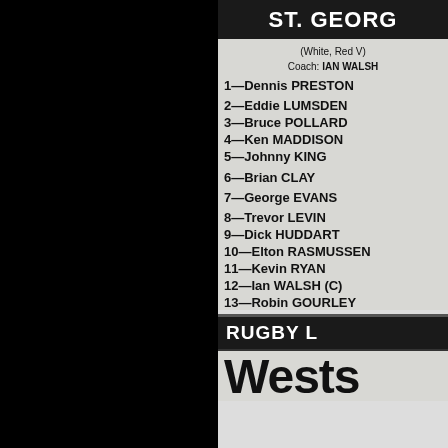ST. GEORG
(White, Red V)
Coach: IAN WALSH
1—Dennis PRESTON
2—Eddie LUMSDEN
3—Bruce POLLARD
4—Ken MADDISON
5—Johnny KING
6—Brian CLAY
7—George EVANS
8—Trevor LEVIN
9—Dick HUDDART
10—Elton RASMUSSEN
11—Kevin RYAN
12—Ian WALSH (C)
13—Robin GOURLEY
RUGBY L
Wests